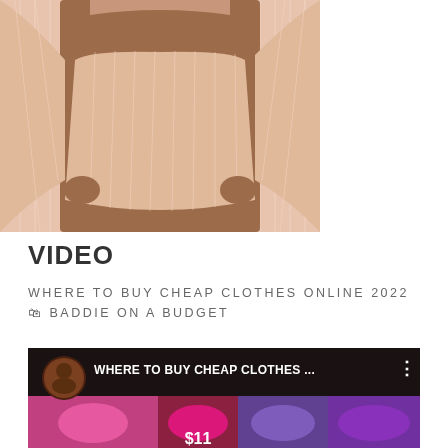[Figure (photo): Fashion photo showing a model wearing a pink/peach pinstripe co-ord set consisting of a crop top and mini skirt, cropped to show torso and lower body]
VIDEO
WHERE TO BUY CHEAP CLOTHES ONLINE 2022🛍 BADDIE ON A BUDGET
[Figure (screenshot): YouTube video thumbnail for 'WHERE TO BUY CHEAP CLOTHES ...' showing a YouTuber avatar on left, colorful fashion collage with $11 price label at bottom]